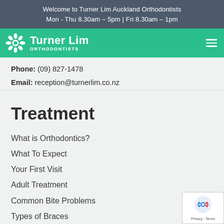Welcome to Turner Lim Auckland Orthodontists
Mon - Thu 8.30am – 5pm | Fri 8.30am – 1pm
[Figure (logo): Turner Lim Orthodontists logo with white snowflake/sun icon on green background]
Phone: (09) 827-1478
Email: reception@turnerlim.co.nz
Treatment
What is Orthodontics?
What To Expect
Your First Visit
Adult Treatment
Common Bite Problems
Types of Braces
SureSmile